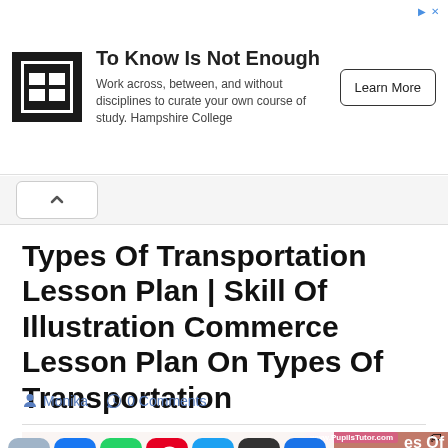[Figure (screenshot): Advertisement banner for Hampshire College with logo, text 'To Know Is Not Enough', description about disciplines, and 'Learn More' button]
Types Of Transportation Lesson Plan | Skill Of Illustration Commerce Lesson Plan On Types Of Transportation
Monika   0 Comments
[Figure (screenshot): Bottom image strip showing www.PupilsTutor.com watermark with partial text 'es Of' and social sharing buttons for Facebook, WhatsApp, Pinterest, Twitter, link copy, and share]